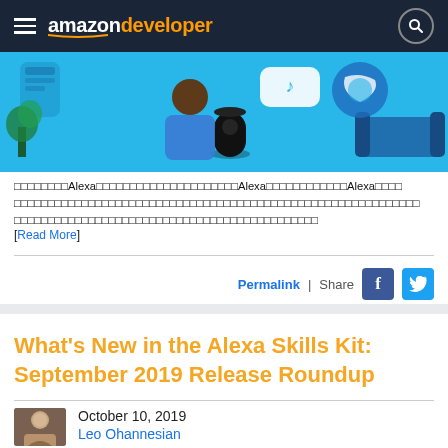amazon developer
[Figure (illustration): Illustration of a person using an Alexa smart speaker with speech bubbles and icons on a blue background]
□□□□□□□□Alexa□□□□□□□□□□□□□□□□□□□□□Alexa□□□□□□□□□□□□Alexa□□□□□□□□□□□□□□□□□□□□□□□□□□□□□□□□□□□□□□□□□□□□□□□□□□□□□□□□□□□□□□□□□□□□□□□□□□□□□□□□□□□□□□□□□□□□□□□□
[Read More]
Permalink | Share
What's New in the Alexa Skills Kit: September 2019 Release Roundup
October 10, 2019
Leo Ohannesian